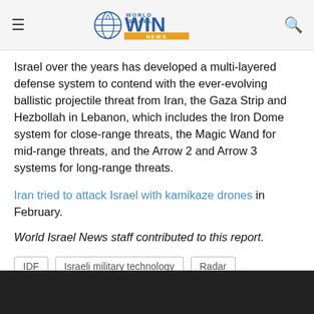WIN World Israel News
Israel over the years has developed a multi-layered defense system to contend with the ever-evolving ballistic projectile threat from Iran, the Gaza Strip and Hezbollah in Lebanon, which includes the Iron Dome system for close-range threats, the Magic Wand for mid-range threats, and the Arrow 2 and Arrow 3 systems for long-range threats.
Iran tried to attack Israel with kamikaze drones in February.
World Israel News staff contributed to this report.
IDF
Israeli military technology
Radar